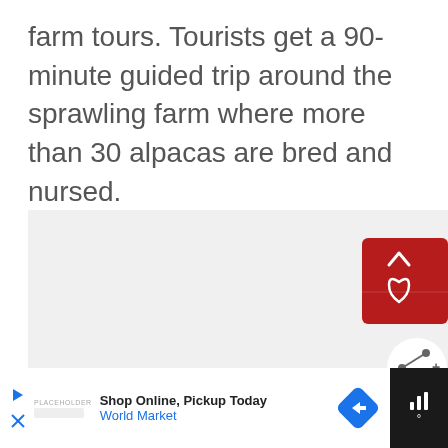farm tours. Tourists get a 90-minute guided trip around the sprawling farm where more than 30 alpacas are bred and nursed.
[Figure (screenshot): Webpage UI overlay showing a red bookmark/like card button and a share button over a light gray image area, plus a 'What's Next' thumbnail widget and an advertisement bar at the bottom for World Market reading 'Shop Online, Pickup Today'.]